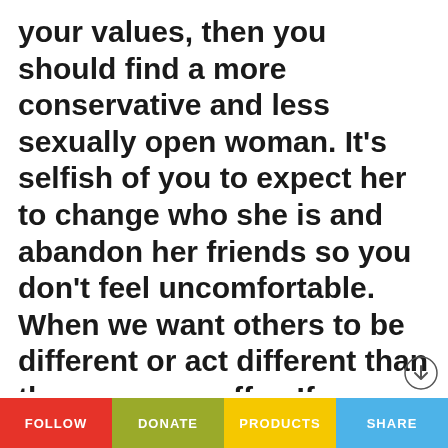your values, then you should find a more conservative and less sexually open woman. It's selfish of you to expect her to change who she is and abandon her friends so you don't feel uncomfortable. When we want others to be different or act different than they are, we suffer. If you are dating a woman who has a
FOLLOW | DONATE | PRODUCTS | SHARE